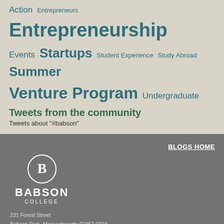Action Entrepreneurs Entrepreneurship Events Startups Student Experience Study Abroad Summer Venture Program Undergraduate
Tweets from the community
Tweets about "#babson"
BLOGS HOME
[Figure (logo): Babson College logo with circular B emblem, BABSON text in bold white, COLLEGE in spaced white letters below]
231 Forest Street
Babson Park, Massachusetts 02457-0310
781-235-1200 / DIRECTIONS
TERMS OF USE / PRIVACY POLICY / FEEDBACK
© 2022 Babson College. All Rights Reserved.